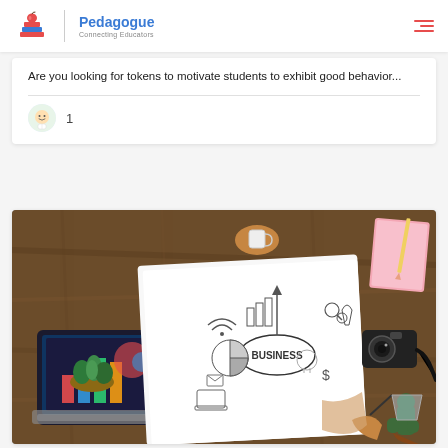Pedagogue — Connecting Educators
Are you looking for tokens to motivate students to exhibit good behavior...
1
[Figure (photo): Overhead view of a person writing on a business concept mind map notebook surrounded by a laptop, camera, plants, coffee cup, pens, and other desk items on a wooden table.]